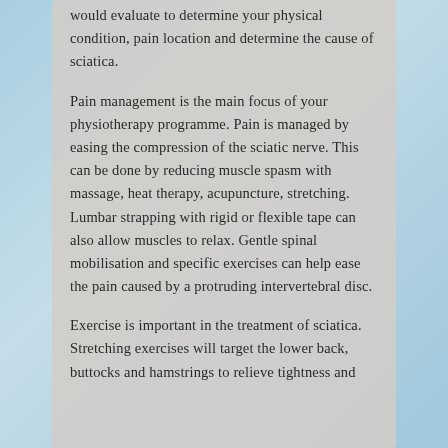would evaluate to determine your physical condition, pain location and determine the cause of sciatica.
Pain management is the main focus of your physiotherapy programme. Pain is managed by easing the compression of the sciatic nerve. This can be done by reducing muscle spasm with massage, heat therapy, acupuncture, stretching. Lumbar strapping with rigid or flexible tape can also allow muscles to relax. Gentle spinal mobilisation and specific exercises can help ease the pain caused by a protruding intervertebral disc.
Exercise is important in the treatment of sciatica. Stretching exercises will target the lower back, buttocks and hamstrings to relieve tightness and